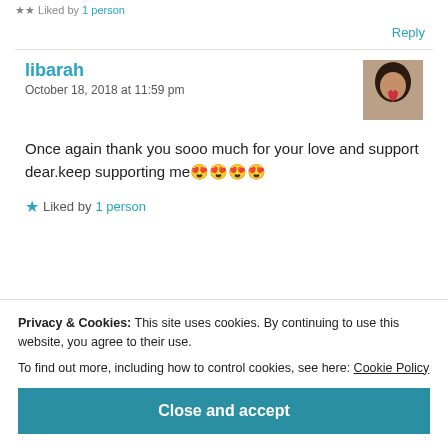Liked by 1 person
Reply
libarah
October 18, 2018 at 11:59 pm
Once again thank you sooo much for your love and support dear.keep supporting me 😍😍😍😍
Liked by 1 person
Privacy & Cookies: This site uses cookies. By continuing to use this website, you agree to their use.
To find out more, including how to control cookies, see here: Cookie Policy
Close and accept